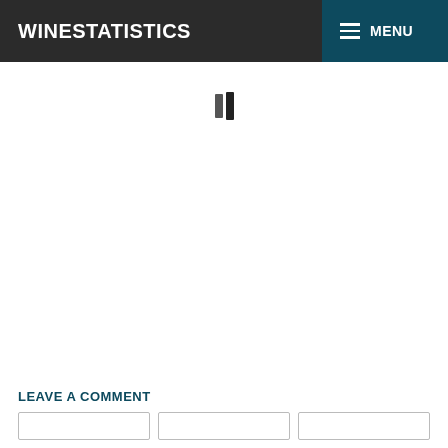WINESTATISTICS
[Figure (other): Loading spinner with two vertical bars indicating content loading]
LEAVE A COMMENT